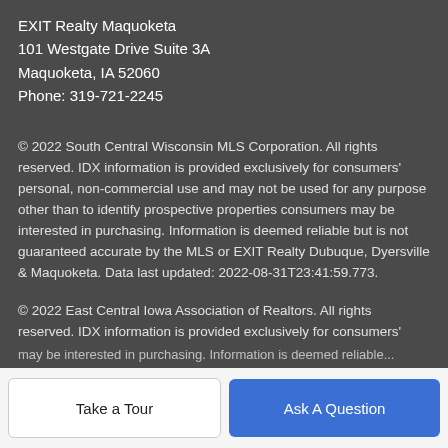EXIT Realty Maquoketa
101 Westgate Drive Suite 3A
Maquoketa, IA 52060
Phone: 319-721-2245
© 2022 South Central Wisconsin MLS Corporation. All rights reserved. IDX information is provided exclusively for consumers' personal, non-commercial use and may not be used for any purpose other than to identify prospective properties consumers may be interested in purchasing. Information is deemed reliable but is not guaranteed accurate by the MLS or EXIT Realty Dubuque, Dyersville & Maquoketa. Data last updated: 2022-08-31T23:41:59.773.
© 2022 East Central Iowa Association of Realtors. All rights reserved. IDX information is provided exclusively for consumers' may be interested in purchasing. Information is deemed reliable...